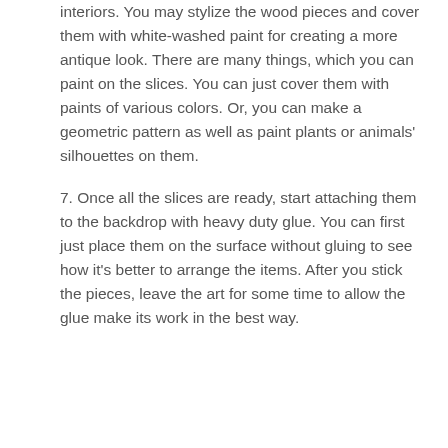interiors. You may stylize the wood pieces and cover them with white-washed paint for creating a more antique look. There are many things, which you can paint on the slices. You can just cover them with paints of various colors. Or, you can make a geometric pattern as well as paint plants or animals' silhouettes on them.
7. Once all the slices are ready, start attaching them to the backdrop with heavy duty glue. You can first just place them on the surface without gluing to see how it's better to arrange the items. After you stick the pieces, leave the art for some time to allow the glue make its work in the best way.